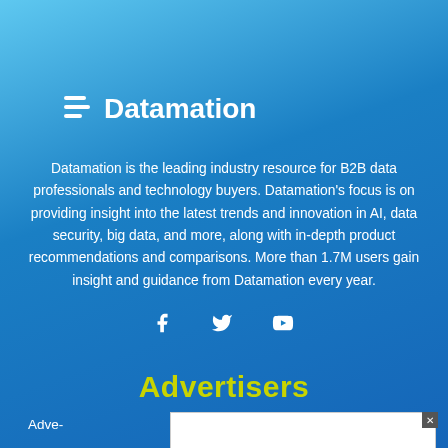[Figure (logo): Datamation logo with stylized 'D' icon in white and the text 'Datamation' in white bold font]
Datamation is the leading industry resource for B2B data professionals and technology buyers. Datamation's focus is on providing insight into the latest trends and innovation in AI, data security, big data, and more, along with in-depth product recommendations and comparisons. More than 1.7M users gain insight and guidance from Datamation every year.
[Figure (infographic): Three social media icons: Facebook (f), Twitter (bird), YouTube (play button) in white on blue background]
Advertisers
Adve our d .